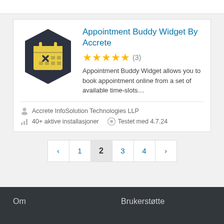[Figure (screenshot): Top bar of a website UI, partially visible]
Appointment Buddy Widget By Accrete
[Figure (illustration): Dark hexagonal icon with a yellow calendar/appointment symbol]
★★★★★ (3)
Appointment Buddy Widget allows you to book appointment online from a set of available time-slots...
Accrete InfoSolution Technologies LLP
40+ aktive installasjoner   Testet med 4.7.24
‹  1  2  3  4  ›
Om
Brukerstøtte